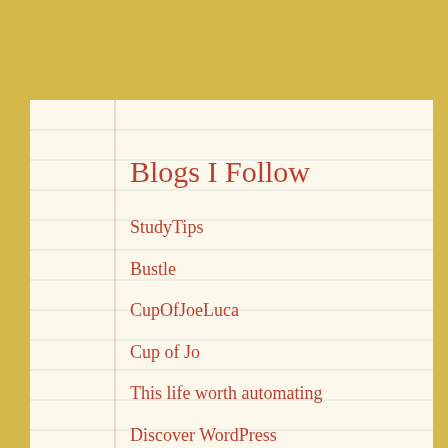Blogs I Follow
StudyTips
Bustle
CupOfJoeLuca
Cup of Jo
This life worth automating
Discover WordPress
The Atavist Magazine
WordPress.com News